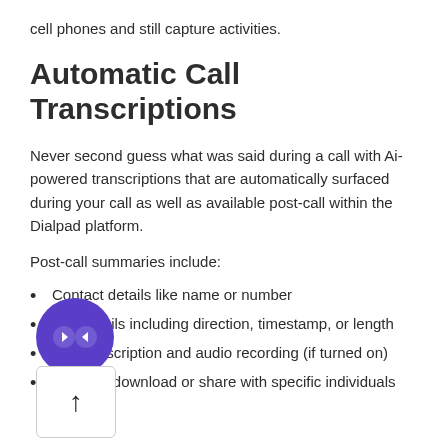cell phones and still capture activities.
Automatic Call Transcriptions
Never second guess what was said during a call with Ai-powered transcriptions that are automatically surfaced during your call as well as available post-call within the Dialpad platform.
Post-call summaries include:
Contact details like name or number
Call details including direction, timestamp, or length
Full transcription and audio recording (if turned on)
Ability to download or share with specific individuals